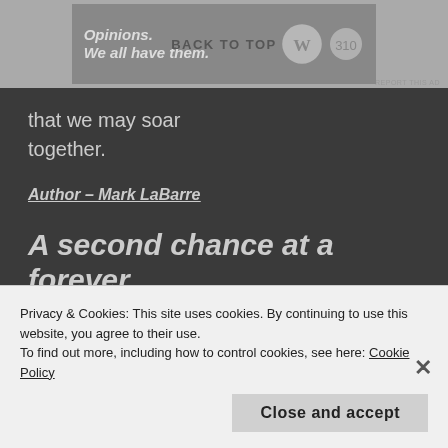[Figure (other): Ad banner at top with WordPress logo and 'Opinions. We all have them.' text, with BACK TO TOP overlay button]
that we may soar
together.
Author – Mark LaBarre
A second chance at a forever home
by Claire Longworth
Privacy & Cookies: This site uses cookies. By continuing to use this website, you agree to their use.
To find out more, including how to control cookies, see here: Cookie Policy
Close and accept